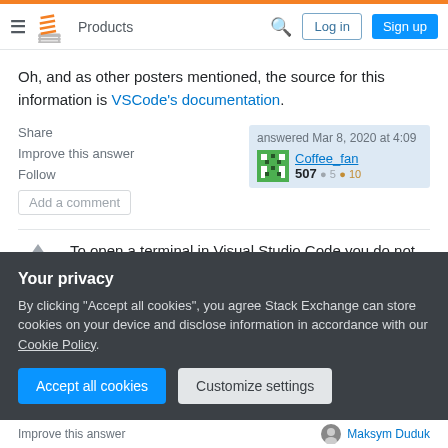≡  [Stack Overflow logo]  Products  🔍  Log in  Sign up
Oh, and as other posters mentioned, the source for this information is VSCode's documentation.
Share  |  Improve this answer  |  Follow  |  Add a comment  |  answered Mar 8, 2020 at 4:09  Coffee_fan  507 ●5 ●10
To open a terminal in Visual Studio Code you do not need to use Ctrl + ` as recommended everywhere,
Your privacy

By clicking "Accept all cookies", you agree Stack Exchange can store cookies on your device and disclose information in accordance with our Cookie Policy.

[Accept all cookies]  [Customize settings]
Improve this answer  Maksym Duduk